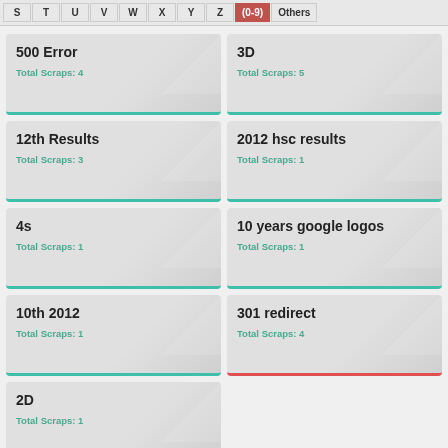S T U V W X Y Z (0-9) Others
500 Error — Total Scraps: 4
3D — Total Scraps: 5
12th Results — Total Scraps: 3
2012 hsc results — Total Scraps: 1
4s — Total Scraps: 1
10 years google logos — Total Scraps: 1
10th 2012 — Total Scraps: 1
301 redirect — Total Scraps: 4
2D — Total Scraps: 1